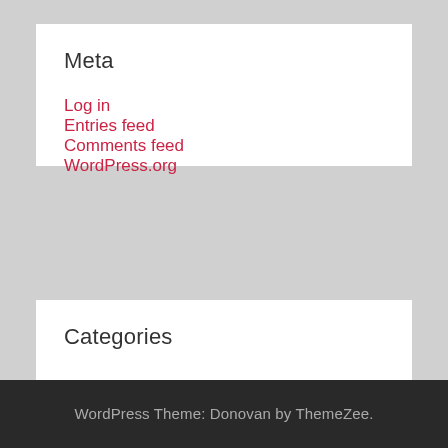Meta
Log in
Entries feed
Comments feed
WordPress.org
Categories
Select Category
WordPress Theme: Donovan by ThemeZee.